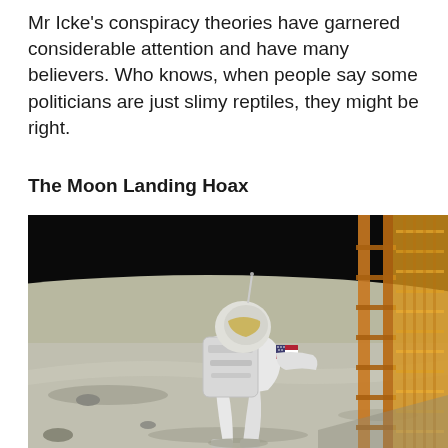Mr Icke's conspiracy theories have garnered considerable attention and have many believers. Who knows, when people say some politicians are just slimy reptiles, they might be right.
The Moon Landing Hoax
[Figure (photo): Photograph of an astronaut in a white spacesuit with US flag patch on the arm, climbing down the ladder of the lunar module on the moon's surface. The background shows the black sky of space and the grey lunar surface. The lunar module's gold foil-wrapped landing struts are visible on the right.]